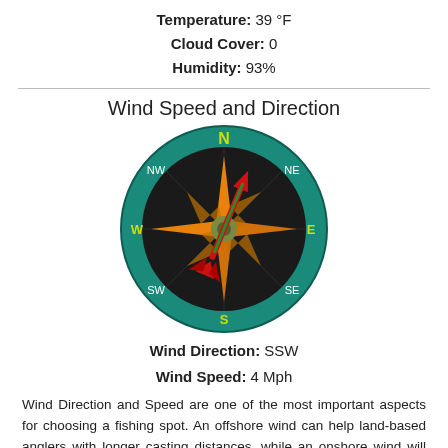Temperature: 39 °F
Cloud Cover: 0
Humidity: 93%
Wind Speed and Direction
[Figure (illustration): A compass rose diagram showing wind direction SSW, with teal outer ring, black inner circle, orange compass star, and a red arrow pointing toward SSW (lower left), with directional labels N, NE, E, SE, S, SW, W, NW in yellow/white.]
Wind Direction: SSW
Wind Speed: 4 Mph
Wind Direction and Speed are one of the most important aspects for choosing a fishing spot. An offshore wind can help land-based anglers with longer casting distances, while an onshore wind will make kayak fishing safer. Often fish will also